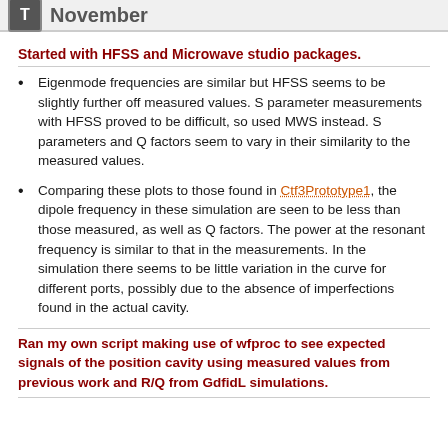November
Started with HFSS and Microwave studio packages.
Eigenmode frequencies are similar but HFSS seems to be slightly further off measured values. S parameter measurements with HFSS proved to be difficult, so used MWS instead. S parameters and Q factors seem to vary in their similarity to the measured values.
Comparing these plots to those found in Ctf3Prototype1, the dipole frequency in these simulation are seen to be less than those measured, as well as Q factors. The power at the resonant frequency is similar to that in the measurements. In the simulation there seems to be little variation in the curve for different ports, possibly due to the absence of imperfections found in the actual cavity.
Ran my own script making use of wfproc to see expected signals of the position cavity using measured values from previous work and R/Q from GdfidL simulations.